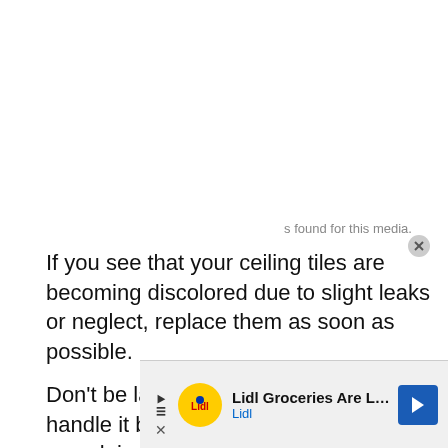If you see that your ceiling tiles are becoming discolored due to slight leaks or neglect, replace them as soon as possible.
Don't be lazy; if you see an issue, handle it before the client has time to complain about it.
[Figure (other): Advertisement banner for Lidl Groceries with logo, text 'Lidl Groceries Are Low-Priced', and a blue navigation arrow icon. Overlaid on page with a media-not-found notice.]